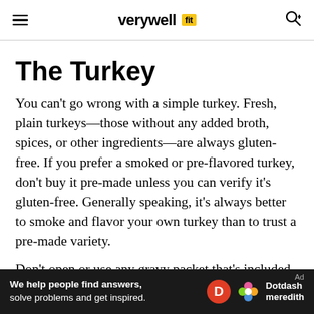verywell fit
The Turkey
You can't go wrong with a simple turkey. Fresh, plain turkeys—those without any added broth, spices, or other ingredients—are always gluten-free. If you prefer a smoked or pre-flavored turkey, don't buy it pre-made unless you can verify it's gluten-free. Generally speaking, it's always better to smoke and flavor your own turkey than to trust a pre-made variety.
Don't open or use any gravy packet that's included with a turkey unless it specifically states "gluten-
[Figure (infographic): Dotdash Meredith advertisement banner: 'We help people find answers, solve problems and get inspired.' with Dotdash Meredith logo]